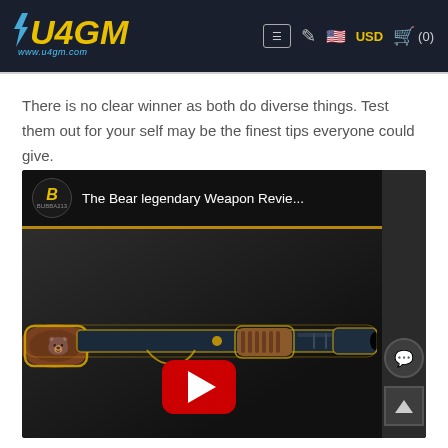U4GM www.u4gm.com — USD (0)
There is no clear winner as both do diverse things. Test them out for your self may be the finest tips everyone could give.
[Figure (screenshot): YouTube video thumbnail showing 'The Bear legendary Weapon Revie...' by channel BUBBA213, featuring a shotgun with glowing yellow outline and a red YouTube play button overlay.]